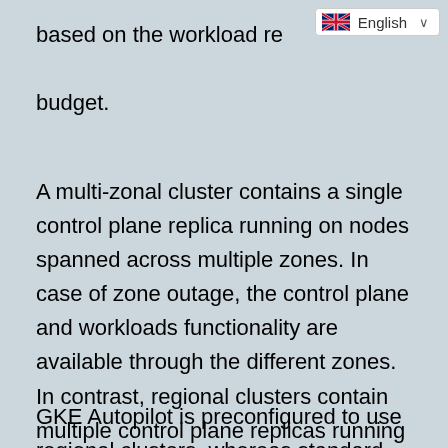[Figure (screenshot): English language selector UI widget with UK flag icon and dropdown chevron]
based on the workload requirements and budget.
A multi-zonal cluster contains a single control plane replica running on nodes spanned across multiple zones. In case of zone outage, the control plane and workloads functionality are available through the different zones. In contrast, regional clusters contain multiple control plane replicas running in multiple zones within a given region.
GKE Autopilot is preconfigured to use regional clusters, whereas standard GKE allows users